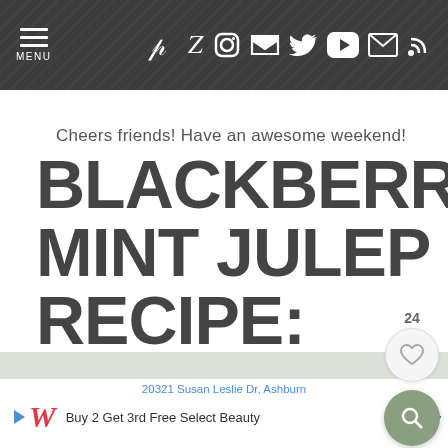MENU | social icons: Pinterest, Facebook, Instagram, Twitter, YouTube, Email, RSS
Cheers friends! Have an awesome weekend!
BLACKBERRY MINT JULEP RECIPE:
[Figure (screenshot): Partial image strip showing text BLACKBERRY MINT in muted green/gray tones]
[Figure (screenshot): Advertisement bar: 20321 Susan Leslie Dr, Ashburn | Walgreens logo | Buy 2 Get 3rd Free Select Beauty | navigation arrow icon]